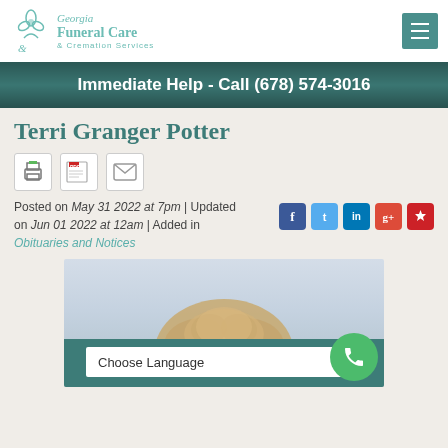[Figure (logo): Georgia Funeral Care & Cremation Services logo with teal floral icon and script/serif text]
Immediate Help - Call (678) 574-3016
Terri Granger Potter
[Figure (infographic): Print, PDF, and email share icons]
Posted on May 31 2022 at 7pm | Updated on Jun 01 2022 at 12am | Added in Obituaries and Notices
[Figure (infographic): Social media icons: Facebook, Twitter, LinkedIn, Google+, Pinterest]
[Figure (photo): Photo of Terri Granger Potter showing top of head with blonde hair, partially obscured by a language selector overlay]
Choose Language